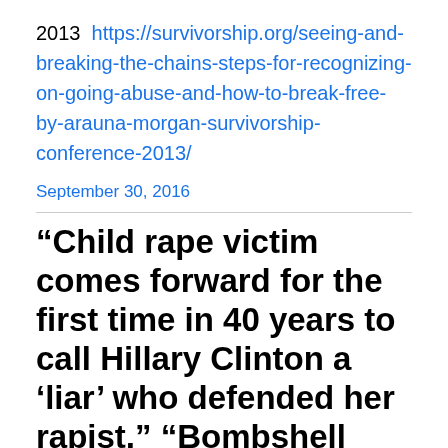2013  https://survivorship.org/seeing-and-breaking-the-chains-steps-for-recognizing-on-going-abuse-and-how-to-break-free-by-arauna-morgan-survivorship-conference-2013/
September 30, 2016
“Child rape victim comes forward for the first time in 40 years to call Hillary Clinton a ‘liar’ who defended her rapist,” “Bombshell Report Details EVERY Clinton Sex Assault